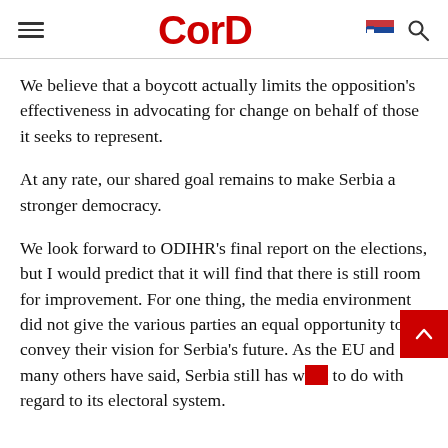CorD
We believe that a boycott actually limits the opposition's effectiveness in advocating for change on behalf of those it seeks to represent.
At any rate, our shared goal remains to make Serbia a stronger democracy.
We look forward to ODIHR's final report on the elections, but I would predict that it will find that there is still room for improvement. For one thing, the media environment did not give the various parties an equal opportunity to convey their vision for Serbia's future. As the EU and many others have said, Serbia still has work to do with regard to its electoral system.